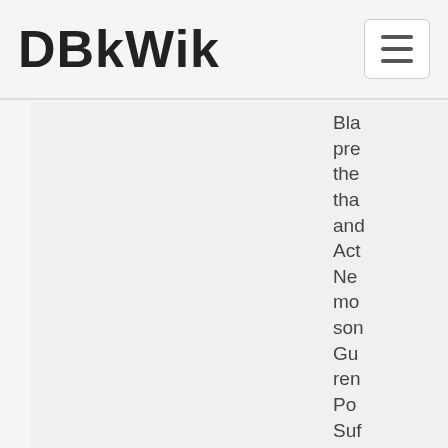DBkWik
Bla
pre
the
that
and
Act
Ne
mo
son
Gu
ren
Po
Suf
And
Gra
Me
Ma
or,
Dan
bac